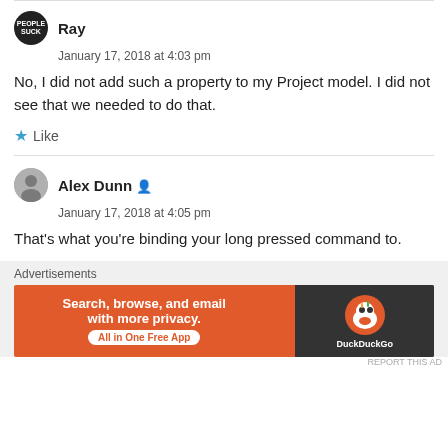Ray
January 17, 2018 at 4:03 pm
No, I did not add such a property to my Project model. I did not see that we needed to do that.
Like
Alex Dunn
January 17, 2018 at 4:05 pm
That's what you're binding your long pressed command to.
Advertisements
[Figure (other): DuckDuckGo advertisement banner: Search, browse, and email with more privacy. All in One Free App. DuckDuckGo logo on dark background.]